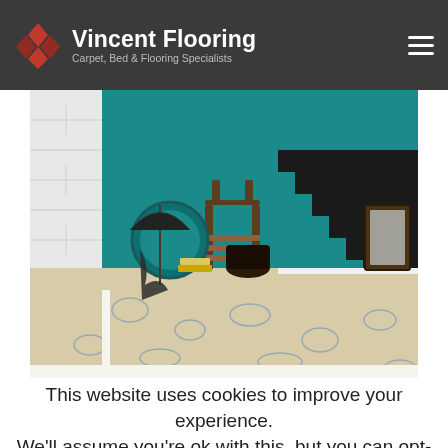Vincent Flooring — Carpet, Bed & Flooring Specialists
[Figure (photo): Interior hallway scene with a patterned carpet (cream with blue floral/vine motif), a wooden chair, black staircase, teal/turquoise walls, white brick column, umbrella leaning against chair, stacked books on floor, and a framed picture leaning against the wall.]
This website uses cookies to improve your experience. We'll assume you're ok with this, but you can opt-out if you wish. Accept